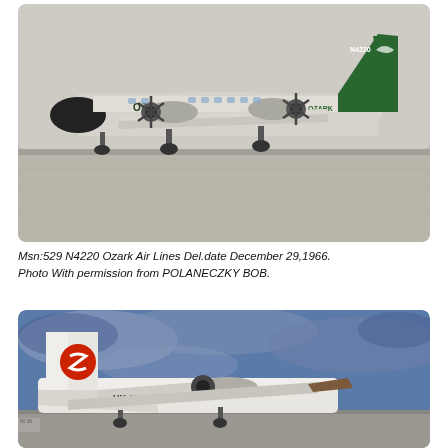[Figure (photo): Photograph of an Ozark Air Lines propeller aircraft (registration N4220) on a tarmac. The plane is light grey with a dark green tail featuring a bird logo. The word OZARK is written on the fuselage. The aircraft has twin turboprop engines mounted on the wings.]
Msn:529 N4220 Ozark Air Lines Del.date December 29,1966. Photo With permission from POLANECZKY BOB.
[Figure (photo): Photograph of an aircraft with registration HK-1880 on a tarmac with a cloudy blue sky in the background. The tail features a circular logo with a stylized 'S' or similar symbol in red/orange. The aircraft appears to be a turboprop type.]